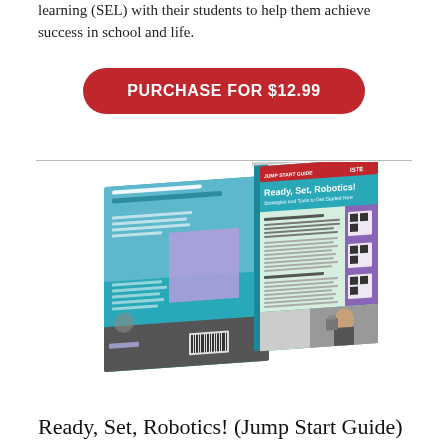learning (SEL) with their students to help them achieve success in school and life.
[Figure (other): Red rounded rectangle button with white text reading PURCHASE FOR $12.99]
[Figure (photo): Photo of the Ready, Set, Robotics! Jump Start Guide booklet, showing front and back covers with teal, blue, purple and grey design panels, ISTE branding, and a photo of a child with a robot.]
Ready, Set, Robotics! (Jump Start Guide)